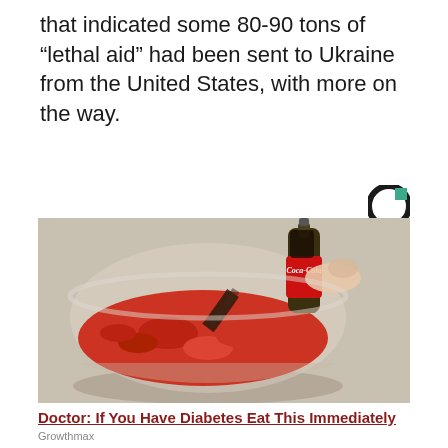that indicated some 80-90 tons of “lethal aid” had been sent to Ukraine from the United States, with more on the way.
[Figure (logo): Circular logo with green accent, dark outline, resembling a media outlet brand mark]
[Figure (photo): A Coca-Cola bottle being poured into a glass bowl filled with red powder]
Doctor: If You Have Diabetes Eat This Immediately
Growthmax